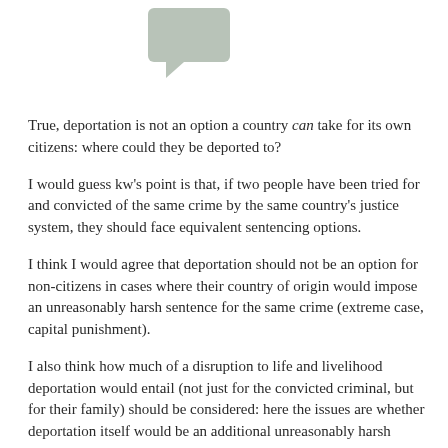[Figure (illustration): A grey speech bubble / chat bubble icon in the upper center of the page]
True, deportation is not an option a country can take for its own citizens: where could they be deported to?
I would guess kw's point is that, if two people have been tried for and convicted of the same crime by the same country's justice system, they should face equivalent sentencing options.
I think I would agree that deportation should not be an option for non-citizens in cases where their country of origin would impose an unreasonably harsh sentence for the same crime (extreme case, capital punishment).
I also think how much of a disruption to life and livelihood deportation would entail (not just for the convicted criminal, but for their family) should be considered: here the issues are whether deportation itself would be an additional unreasonably harsh punishment, and/or whether innocent people would also be punished.
But I'm not seeing the decision to deport a